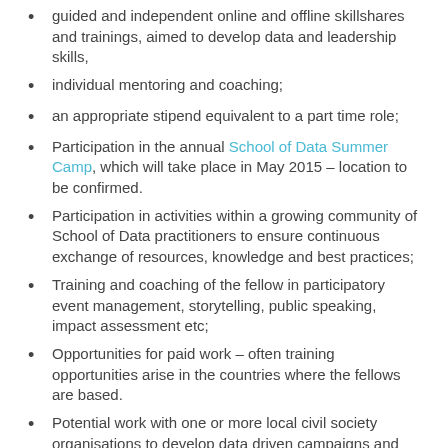guided and independent online and offline skillshares and trainings, aimed to develop data and leadership skills,
individual mentoring and coaching;
an appropriate stipend equivalent to a part time role;
Participation in the annual School of Data Summer Camp, which will take place in May 2015 – location to be confirmed.
Participation in activities within a growing community of School of Data practitioners to ensure continuous exchange of resources, knowledge and best practices;
Training and coaching of the fellow in participatory event management, storytelling, public speaking, impact assessment etc;
Opportunities for paid work – often training opportunities arise in the countries where the fellows are based.
Potential work with one or more local civil society organisations to develop data driven campaigns and